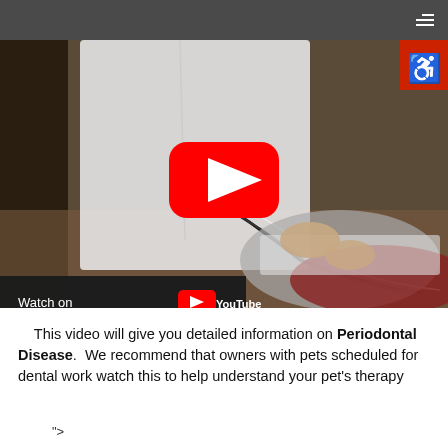[Figure (screenshot): YouTube video thumbnail showing veterinary dental procedure. A person in a white lab coat works on an animal patient. A YouTube play button is overlaid in the center. 'Watch on YouTube' label appears in the lower left. An accessibility icon (wheelchair) is visible in the top right corner. The video is embedded on a webpage with a dark navigation bar at the top.]
This video will give you detailed information on Periodontal Disease.  We recommend that owners with pets scheduled for dental work watch this to help understand your pet's therapy
">